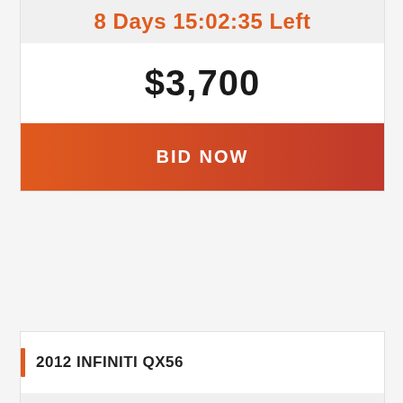8 Days 15:02:35 Left
$3,700
BID NOW
2012 INFINITI QX56
10 Days 09:17:09 Left
$40,150 / Car Price
BID NOW